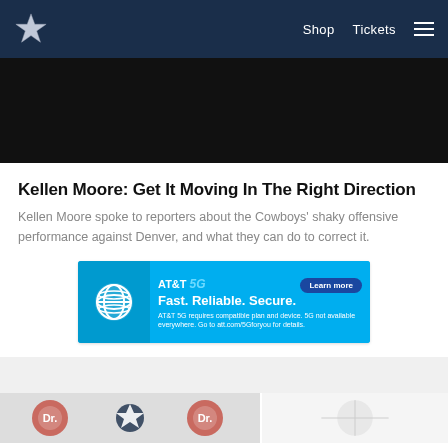Shop  Tickets  ☰
[Figure (photo): Dark/black image area — video or photo placeholder]
Kellen Moore: Get It Moving In The Right Direction
Kellen Moore spoke to reporters about the Cowboys' shaky offensive performance against Denver, and what they can do to correct it.
[Figure (infographic): AT&T 5G advertisement banner — Fast. Reliable. Secure. with Learn more button]
[Figure (photo): Bottom thumbnail strip showing partial images]